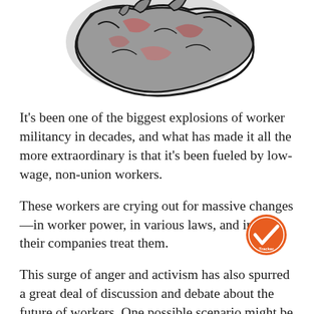[Figure (illustration): Partial view of an illustrated figure, appears to be a stylized animal or creature rendered in grey, black, and red/pink tones, cropped at the top of the page.]
It’s been one of the biggest explosions of worker militancy in decades, and what has made it all the more extraordinary is that it’s been fueled by low-wage, non-union workers.
These workers are crying out for massive changes—in worker power, in various laws, and in how their companies treat them.
This surge of anger and activism has also spurred a great deal of discussion and debate about the future of workers. One possible scenario might be called the status quo scenario, the other the